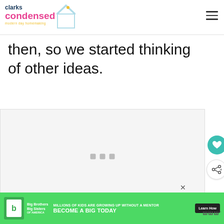clarks condensed - modern day homemaking
then, so we started thinking of other ideas.
[Figure (screenshot): Embedded content placeholder area with three small gray squares in the center, social sharing buttons (heart and share) on the right side, and a 'What's Next' widget showing 'Hot Chocolate Float Bar']
[Figure (other): Big Brothers Big Sisters advertisement banner: 'MILLIONS OF KIDS ARE GROWING UP WITHOUT A MENTOR. BECOME A BIG TODAY' with Learn How button on green background]